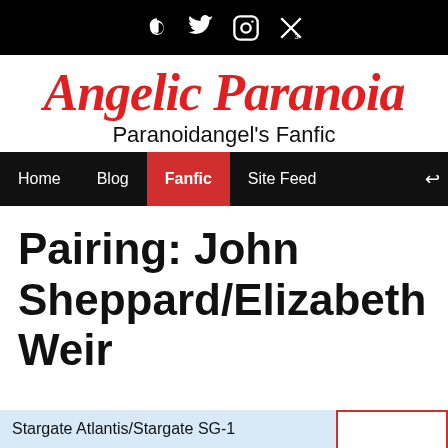Social icons: music/swirl, Twitter, Instagram, X/close
Angelic Paranoia
Paranoidangel's Fanfic
Navigation: Home | Blog | Fanfic | Site Feed
Pairing: John Sheppard/Elizabeth Weir
Stargate Atlantis/Stargate SG-1